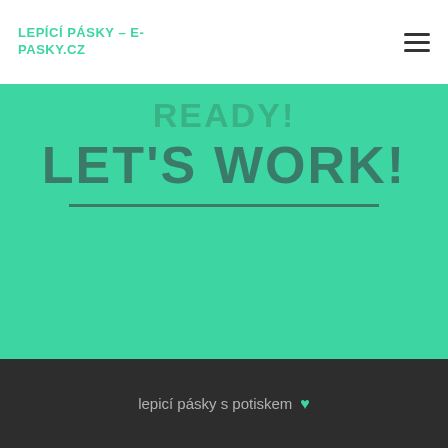LEPÍCÍ PÁSKY – E-PASKY.CZ
READY!
LET'S WORK!
lepicí pásky s potiskem ♥